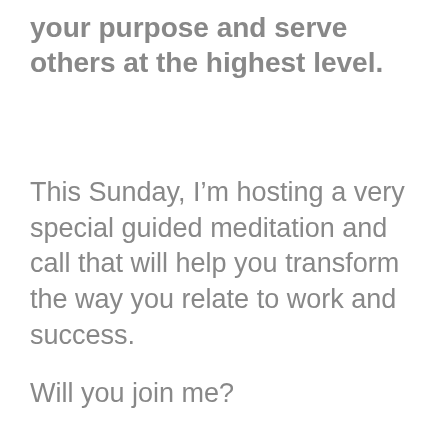your purpose and serve others at the highest level.
This Sunday, I’m hosting a very special guided meditation and call that will help you transform the way you relate to work and success.
Will you join me?